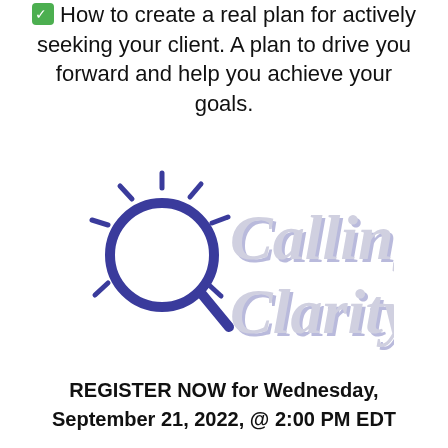How to create a real plan for actively seeking your client. A plan to drive you forward and help you achieve your goals.
[Figure (logo): Calling Clarity logo with magnifying glass and radiating lines, purple and light gray script lettering]
REGISTER NOW for Wednesday, September 21, 2022, @ 2:00 PM EDT